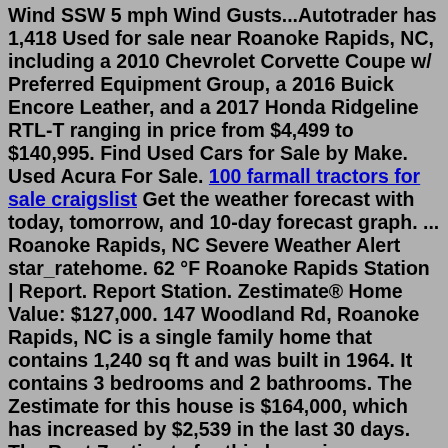Wind SSW 5 mph Wind Gusts...Autotrader has 1,418 Used for sale near Roanoke Rapids, NC, including a 2010 Chevrolet Corvette Coupe w/ Preferred Equipment Group, a 2016 Buick Encore Leather, and a 2017 Honda Ridgeline RTL-T ranging in price from $4,499 to $140,995. Find Used Cars for Sale by Make. Used Acura For Sale. 100 farmall tractors for sale craigslist Get the weather forecast with today, tomorrow, and 10-day forecast graph. ... Roanoke Rapids, NC Severe Weather Alert star_ratehome. 62 °F Roanoke Rapids Station | Report. Report Station. Zestimate® Home Value: $127,000. 147 Woodland Rd, Roanoke Rapids, NC is a single family home that contains 1,240 sq ft and was built in 1964. It contains 3 bedrooms and 2 bathrooms. The Zestimate for this house is $164,000, which has increased by $2,539 in the last 30 days. The Rent Zestimate for this home is $1,133/mo, which has increased by $73/mo in the last 30 days.ROANOKE RAPIDS, N.C. (WNCN) — One woman was airlifted to the hospital and another is behind bars following a shooting on Sunday night in